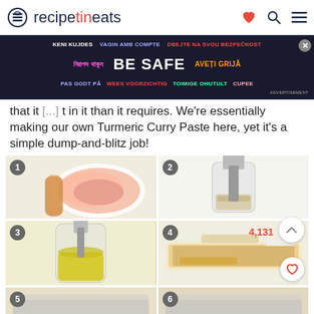recipetineats
[Figure (screenshot): Safety advertisement banner overlay with multilingual text including 'BE SAFE' in large white letters on dark background]
that it [ad banner overlapping] t in it than it requires. We're essentially making our own Turmeric Curry Paste here, yet it's a simple dump-and-blitz job!
[Figure (photo): Step 1: Hand pressing raw chicken breast in a white bowl]
[Figure (photo): Step 2: Immersion blender in a blending cup with chopped vegetables]
[Figure (photo): Step 3: Blended yellow turmeric curry paste in a blending cup]
[Figure (photo): Step 4: Spreading yellow turmeric curry paste onto a raw chicken breast with a spatula, 4,131 likes]
[Figure (photo): Step 5: Baking tray partially visible at bottom]
[Figure (photo): Step 6: Baking tray partially visible at bottom]